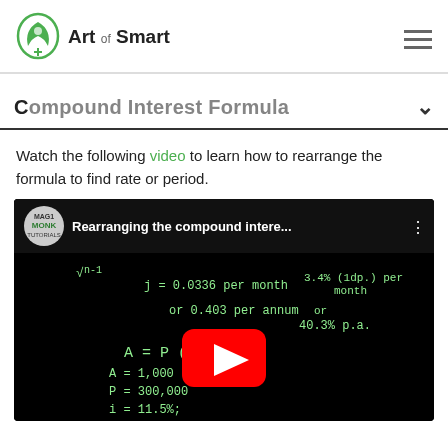Art of Smart
Compound Interest Formula
Watch the following video to learn how to rearrange the formula to find rate or period.
[Figure (screenshot): YouTube video thumbnail for 'Rearranging the compound intere...' by Magic Monk Tutorials, showing a blackboard with handwritten compound interest equations including j = 0.0336 per month, 3.4% (1dp.) per month, or 0.403 per annum, or 40.3% p.a., and A = P(...), A = 1,000, P = 300,000, i = 11.5%. A red YouTube play button is overlaid in the center.]